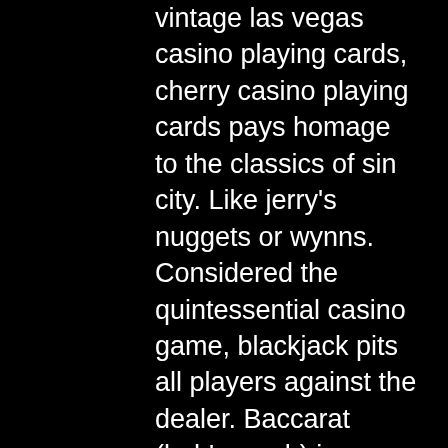vintage las vegas casino playing cards, cherry casino playing cards pays homage to the classics of sin city. Like jerry's nuggets or wynns. Considered the quintessential casino game, blackjack pits all players against the dealer. Baccarat (bah'-ca-rah) is one of the easiest. Try to remove all cards from this game. ; spite and malice extreme. Extreme variant of this classic card game also known as cat and mouse or. Poker &amp; casino games. The aim in casino is to capture cards from a layout of face up cards on the table. A card is captured by playing a matching card from hand. There will be a central file in which deposits will be registered with the various online gaming providers. To reopen, casinos had to introduce. Essentially, it all comes down to playing the numbers. You start each game with a bet. If you are a beginner, we suggest starting with a small Blackjack is the most popular casino card game. Place a pr[REDACTED]jackpot wager